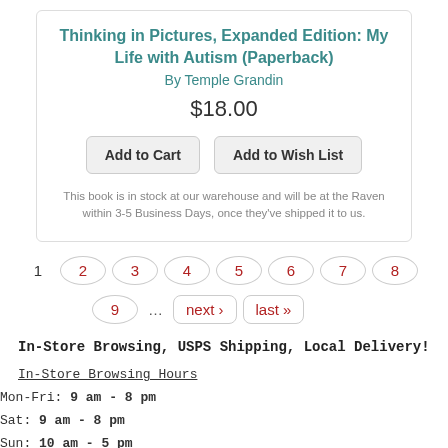Thinking in Pictures, Expanded Edition: My Life with Autism (Paperback)
By Temple Grandin
$18.00
Add to Cart   Add to Wish List
This book is in stock at our warehouse and will be at the Raven within 3-5 Business Days, once they've shipped it to us.
1  2  3  4  5  6  7  8  9  ...  next ›  last »
In-Store Browsing, USPS Shipping, Local Delivery!
In-Store Browsing Hours
Mon-Fri: 9 am - 8 pm
Sat: 9 am - 8 pm
Sun: 10 am - 5 pm